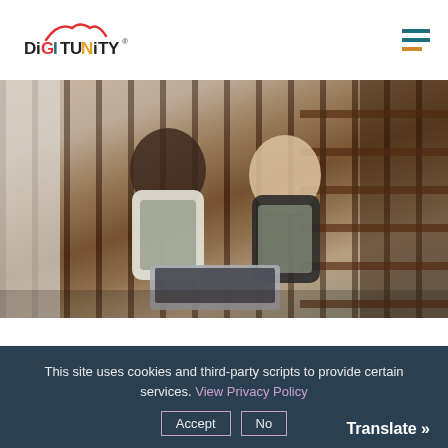[Figure (logo): Digitunity logo — colored arc above text DIGITUNITY with stylized letters]
[Figure (photo): Two women wearing aprons sitting on stairs looking at a laptop together, smiling]
This site uses cookies and third-party scripts to provide certain services. View Privacy Policy
Accept
No
Translate »